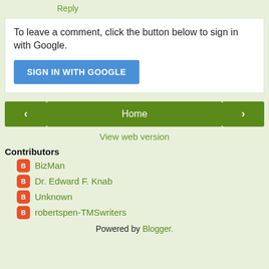Reply
To leave a comment, click the button below to sign in with Google.
[Figure (other): SIGN IN WITH GOOGLE button (blue rounded rectangle)]
[Figure (other): Navigation bar with left arrow button, Home center button, right arrow button]
View web version
Contributors
BizMan
Dr. Edward F. Knab
Unknown
robertspen-TMSwriters
Powered by Blogger.